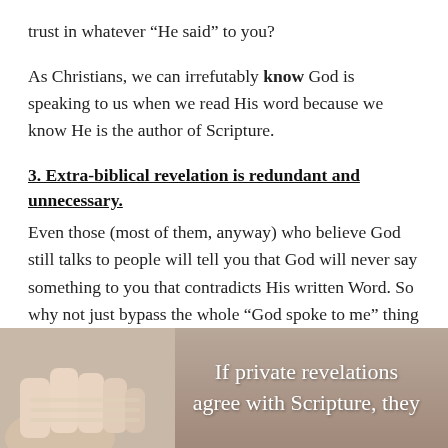trust in whatever “He said” to you?
As Christians, we can irrefutably know God is speaking to us when we read His word because we know He is the author of Scripture.
3. Extra-biblical revelation is redundant and unnecessary.
Even those (most of them, anyway) who believe God still talks to people will tell you that God will never say something to you that contradicts His written Word. So why not just bypass the whole “God spoke to me” thing and go straight to the Bible? Or as Puritan John Owen put it:
[Figure (photo): A photo showing hands holding open a Bible/book with overlaid text reading 'If private revelations agree with Scripture, they']